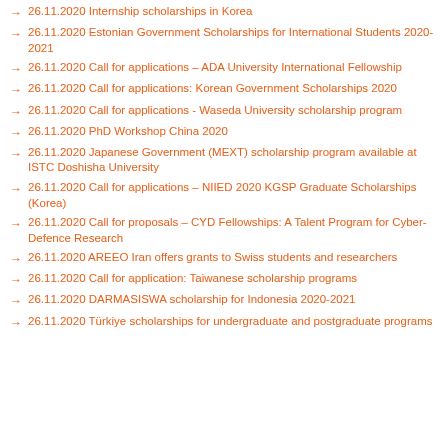26.11.2020 Internship scholarships in Korea
26.11.2020 Estonian Government Scholarships for International Students 2020-2021
26.11.2020 Call for applications – ADA University International Fellowship
26.11.2020 Call for applications: Korean Government Scholarships 2020
26.11.2020 Call for applications - Waseda University scholarship program
26.11.2020 PhD Workshop China 2020
26.11.2020 Japanese Government (MEXT) scholarship program available at ISTC Doshisha University
26.11.2020 Call for applications – NIIED 2020 KGSP Graduate Scholarships (Korea)
26.11.2020 Call for proposals – CYD Fellowships: A Talent Program for Cyber-Defence Research
26.11.2020 AREEO Iran offers grants to Swiss students and researchers
26.11.2020 Call for application: Taiwanese scholarship programs
26.11.2020 DARMASISWA scholarship for Indonesia 2020-2021
26.11.2020 Türkiye scholarships for undergraduate and postgraduate programs